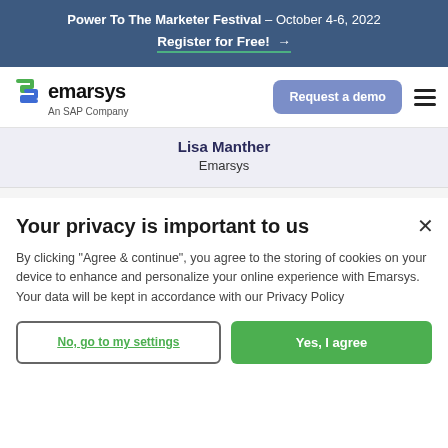Power To The Marketer Festival – October 4-6, 2022
Register for Free! →
[Figure (logo): Emarsys logo with green and blue S symbol, text 'emarsys An SAP Company']
Lisa Manther
Emarsys
Your privacy is important to us
By clicking "Agree & continue", you agree to the storing of cookies on your device to enhance and personalize your online experience with Emarsys. Your data will be kept in accordance with our Privacy Policy
No, go to my settings
Yes, I agree